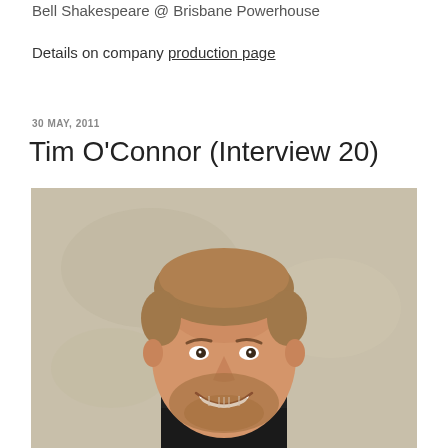Bell Shakespeare @ Brisbane Powerhouse
Details on company production page
30 MAY, 2011
Tim O'Connor (Interview 20)
[Figure (photo): Headshot photo of Tim O'Connor, a man with short dirty-blonde hair and a beard, smiling broadly, wearing a black shirt, against a light neutral background.]